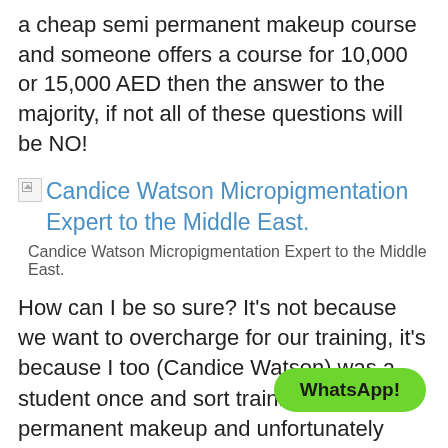a cheap semi permanent makeup course and someone offers a course for 10,000 or 15,000 AED then the answer to the majority, if not all of these questions will be NO!
[Figure (other): Broken image placeholder with hyperlink text: Candice Watson Micropigmentation Expert to the Middle East.]
Candice Watson Micropigmentation Expert to the Middle East.
How can I be so sure? It’s not because we want to overcharge for our training, it’s because I too (Candice Watson) was a student once and sort training for semi permanent makeup and unfortunately back when I was training the story was the same, there were good and courses and of course I did the same, I